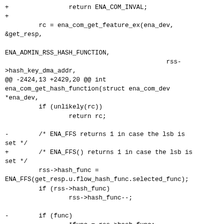+                return ENA_COM_INVAL;
+
         rc = ena_com_get_feature_ex(ena_dev, &get_resp,

ENA_ADMIN_RSS_HASH_FUNCTION,
                                           rss->hash_key_dma_addr,
@@ -2424,13 +2429,20 @@ int ena_com_get_hash_function(struct ena_com_dev *ena_dev,
         if (unlikely(rc))
                 return rc;

-        /* ENA_FFS returns 1 in case the lsb is set */
+        /* ENA_FFS() returns 1 in case the lsb is set */
         rss->hash_func = ENA_FFS(get_resp.u.flow_hash_func.selected_func);
         if (rss->hash_func)
                 rss->hash_func--;

-        if (func)
-                *func = rss->hash_func;
+        *func = rss->hash_func;
+
+        return 0;
+}
+
+int ena_com_get_hash_key(struct ena_com_dev